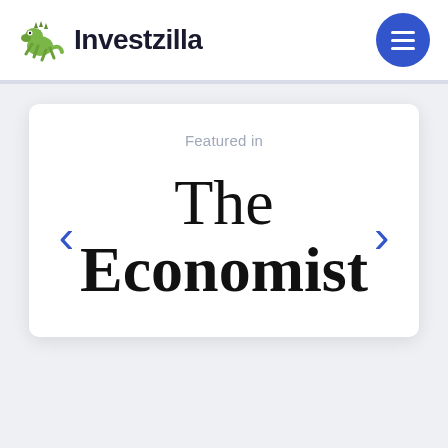[Figure (logo): Investzilla logo with green dragon/lizard mascot and bold dark text 'Investzilla']
[Figure (screenshot): White card with 'Featured in' label above 'The Economist' publication name in serif font, with blue left and right navigation arrows on either side]
Featured in
The Economist